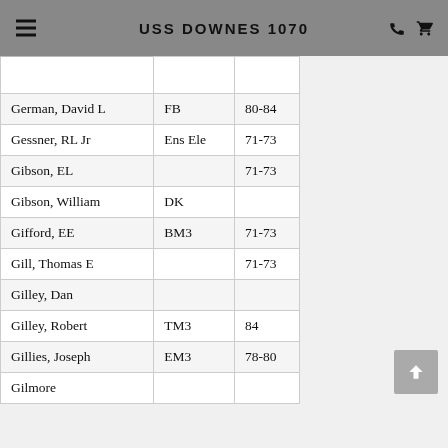USS DOWNES 1070
| Name | Rate | Years |
| --- | --- | --- |
|  |  |  |
| German, David L | FB | 80-84 |
| Gessner, RL Jr | Ens Ele | 71-73 |
| Gibson, EL |  | 71-73 |
| Gibson, William | DK |  |
| Gifford, EE | BM3 | 71-73 |
| Gill, Thomas E |  | 71-73 |
| Gilley, Dan |  |  |
| Gilley, Robert | TM3 | 84 |
| Gillies, Joseph | EM3 | 78-80 |
| Gilmore |  |  |